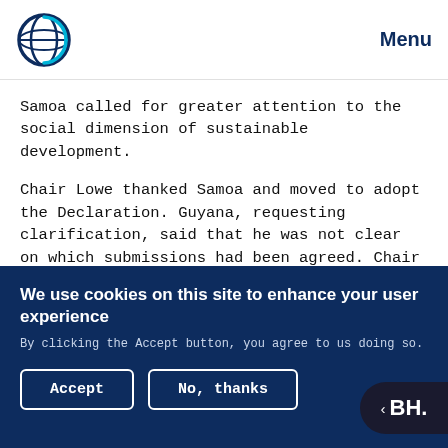Menu
Samoa called for greater attention to the social dimension of sustainable development.
Chair Lowe thanked Samoa and moved to adopt the Declaration. Guyana, requesting clarification, said that he was not clear on which submissions had been agreed. Chair Lowe responded that the proposals from Samoa, Youth, Maldives and Major Groups would be included.
We use cookies on this site to enhance your user experience
By clicking the Accept button, you agree to us doing so.
Accept
No, thanks